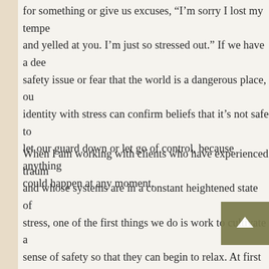for something or give us excuses, “I’m sorry I lost my temper and yelled at you. I’m just so stressed out.” If we have a deep safety issue or fear that the world is a dangerous place, our identity with stress can confirm beliefs that it’s not safe to let our guard down or let go of control, because anything could happen at any moment.
When I am working with clients who have experienced trauma and whose systems are in a constant heightened state of stress, one of the first things we do is work to cultivate a sense of safety so that they can begin to relax. At first it may be very difficult to do so because relaxation is almost a foreign state of being. It’s not uncommon for clients to begin to drop down and enter a deep state of relaxation only to be jolted out of it by the stress response and often a related issue of not feeling safe to let go. This is when having a consistent practice of relaxation techniques can be so invaluable in retraining our nervous system to be more congruent with a relaxed state.